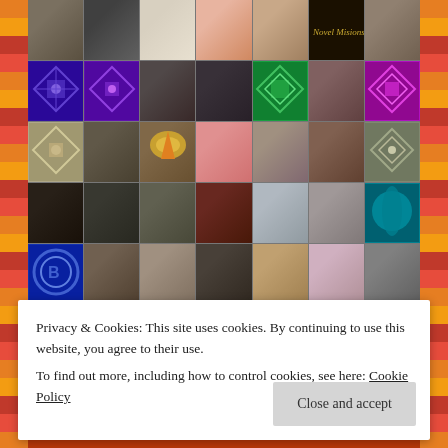[Figure (photo): A 7-column, 5-row grid of user avatar images and decorative pattern tiles (profile photos, abstract geometric patterns in blue, purple, green, pink, tan, olive colors) on a decorative orange/red border background.]
Privacy & Cookies: This site uses cookies. By continuing to use this website, you agree to their use.
To find out more, including how to control cookies, see here: Cookie Policy